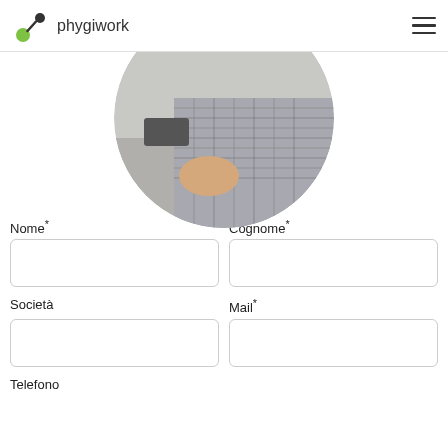phygiwork
[Figure (photo): Circular cropped photo of a person in a checkered shirt sitting at a desk, hands visible, with a phone in the background.]
Nome*
Cognome*
Società
Mail*
Telefono